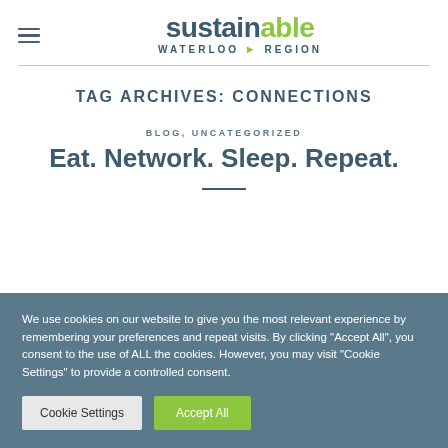sustainable WATERLOO ▸ REGION
TAG ARCHIVES: CONNECTIONS
BLOG, UNCATEGORIZED
Eat. Network. Sleep. Repeat.
We use cookies on our website to give you the most relevant experience by remembering your preferences and repeat visits. By clicking "Accept All", you consent to the use of ALL the cookies. However, you may visit "Cookie Settings" to provide a controlled consent.